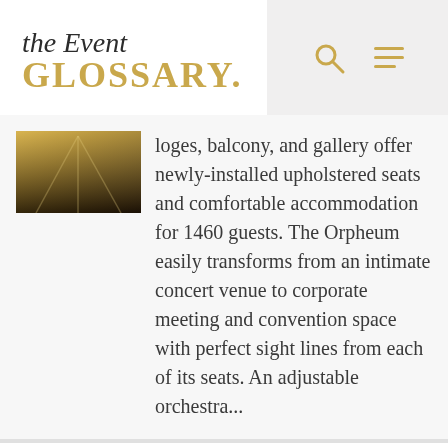the Event GLOSSARY.
loges, balcony, and gallery offer newly-installed upholstered seats and comfortable accommodation for 1460 guests. The Orpheum easily transforms from an intimate concert venue to corporate meeting and convention space with perfect sight lines from each of its seats. An adjustable orchestra...
Bourbon Vieux
Bourbon Vieux, located in the heart of Bourbon Street, is the premier venue...